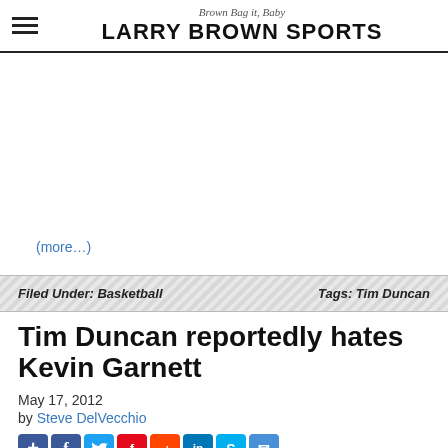Brown Bag it, Baby — LARRY BROWN SPORTS
(more…)
Filed Under: Basketball    Tags: Tim Duncan
Tim Duncan reportedly hates Kevin Garnett
May 17, 2012
by Steve DelVecchio